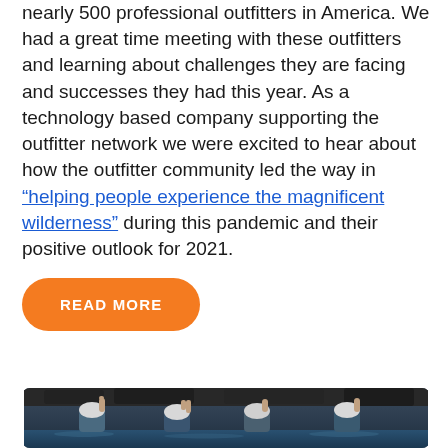nearly 500 professional outfitters in America. We had a great time meeting with these outfitters and learning about challenges they are facing and successes they had this year. As a technology based company supporting the outfitter network we were excited to hear about how the outfitter community led the way in “helping people experience the magnificent wilderness” during this pandemic and their positive outlook for 2021.
READ MORE
[Figure (photo): Group of people in white helmets waving hands in a river or water setting, rocky background visible]